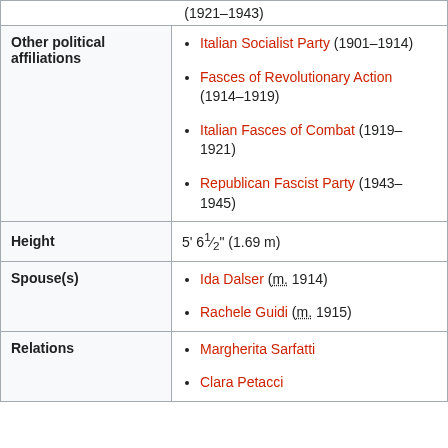| (1921–1943) |  |
| Other political affiliations | Italian Socialist Party (1901–1914)
Fasces of Revolutionary Action (1914–1919)
Italian Fasces of Combat (1919–1921)
Republican Fascist Party (1943–1945) |
| Height | 5' 6½" (1.69 m) |
| Spouse(s) | Ida Dalser (m. 1914)
Rachele Guidi (m. 1915) |
| Relations | Margherita Sarfatti
Clara Petacci |